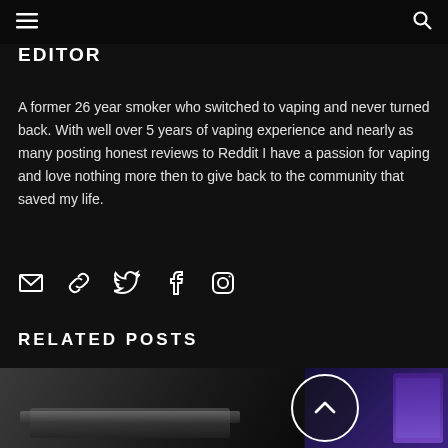☰   🔍
EDITOR
A former 26 year smoker who switched to vaping and never turned back. With well over 5 years of vaping experience and nearly as many posting honest reviews to Reddit I have a passion for vaping and love nothing more then to give back to the community that saved my life.
[Figure (infographic): Social media icons row: email envelope, link/chain icon, Twitter bird, Facebook f, Instagram camera]
RELATED POSTS
[Figure (photo): Two post thumbnails side by side: left shows a dark metallic vaping device, right shows a purple/blue glowing device. A white circle with upward chevron (back to top button) overlays the center-right area.]